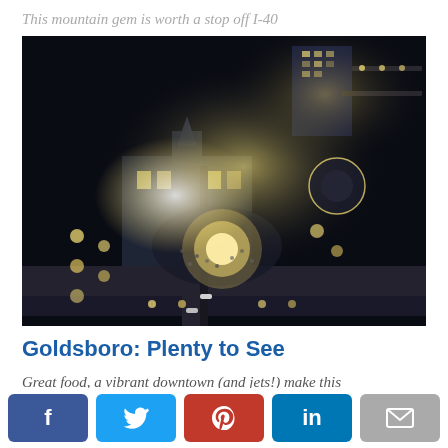This mountain gem is worth a stop off I-40
[Figure (photo): Aerial night view of downtown Goldsboro, NC showing crowds gathered at a lit holiday event, streets with Christmas lights on trees, a historic courthouse building, and a roundabout in the background.]
Goldsboro: Plenty to See
Great food, a vibrant downtown (and jets!) make this
Social sharing buttons: Facebook, Twitter, Pinterest, LinkedIn, Email